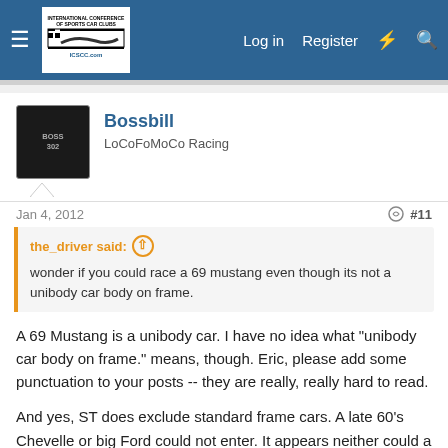International Conference of Sports Car Clubs forum header with Log in, Register navigation
Bossbill
LoCoFoMoCo Racing
Jan 4, 2012  #11
the_driver said:
wonder if you could race a 69 mustang even though its not a unibody car body on frame.
A 69 Mustang is a unibody car. I have no idea what "unibody car body on frame." means, though. Eric, please add some punctuation to your posts -- they are really, really hard to read.

And yes, ST does exclude standard frame cars. A late 60's Chevelle or big Ford could not enter. It appears neither could a Corvette: